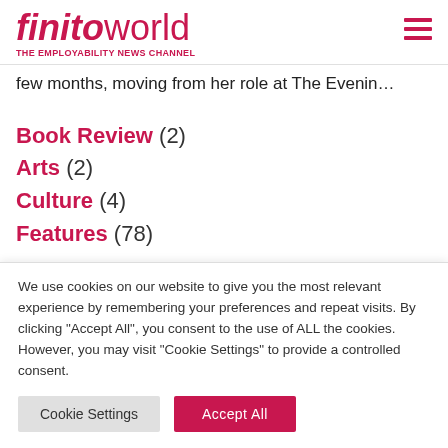finitoworld THE EMPLOYABILITY NEWS CHANNEL
few months, moving from her role at The Evenin…
Book Review (2)
Arts (2)
Culture (4)
Features (78)
We use cookies on our website to give you the most relevant experience by remembering your preferences and repeat visits. By clicking "Accept All", you consent to the use of ALL the cookies. However, you may visit "Cookie Settings" to provide a controlled consent.
Cookie Settings | Accept All